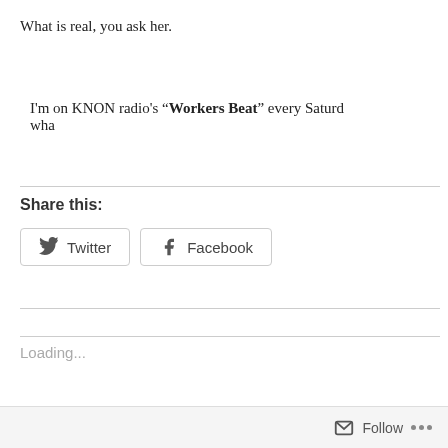What is real, you ask her.
I'm on KNON radio's “Workers Beat” every Saturd... wha...
Share this:
Twitter  Facebook
Loading...
Related
Wonder  Ja...
Follow